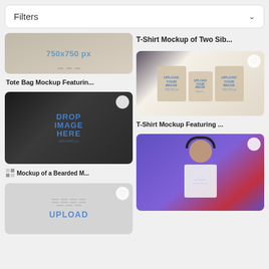Filters
[Figure (photo): Top portion of a tote bag mockup showing '750x750 px' text placeholder, partially cut off at top]
Tote Bag Mockup Featurin...
[Figure (photo): Man with beard wearing a white t-shirt with DROP IMAGE HERE placeholder text in a bar setting]
Mockup of a Bearded M...
[Figure (photo): Flat white t-shirt mockup with UPLOAD placeholder text, partially visible]
T-Shirt Mockup of Two Sib...
[Figure (photo): Family of three (man, girl, woman) holding tote bags with UPLOAD YOUR IMAGE placeholders]
T-Shirt Mockup Featuring ...
[Figure (photo): Teen boy wearing headphones and white t-shirt on purple background, partially visible]